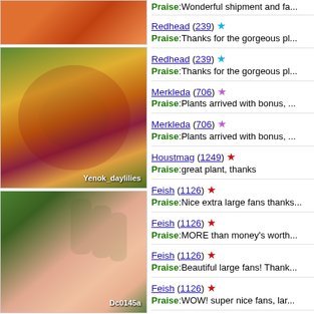[Figure (photo): Partial view of orange daylily flower at top]
Praise:Wonderful shipment and fa...
Redhead (239) ★
Praise:Thanks for the gorgeous pla...
[Figure (photo): Yellow and burgundy daylily flower labeled Yenok_daylilies]
Redhead (239) ★
Praise:Thanks for the gorgeous pla...
Merkleda (706) ★
Praise:Plants arrived with bonus,...
Merkleda (706) ★
Praise:Plants arrived with bonus,...
Houstmag (1249) ★
Praise:great plant, thanks
Feish (1126) ★
Praise:Nice extra large fans thanks...
[Figure (photo): Pink daylily flower with green buds labeled Dc0145a]
Feish (1126) ★
Praise:MORE than money's worth...
Feish (1126) ★
Praise:Beautiful large fans! Thank...
Feish (1126) ★
Praise:WOW! super nice fans, lar...
Smokeysgardens (0)
Praise:Great communicator, fast s...